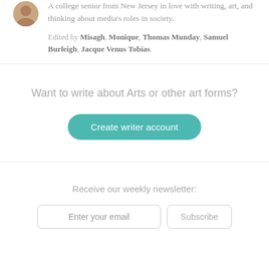A college senior from New Jersey in love with writing, art, and thinking about media's roles in society.
Edited by Misagh, Monique, Thomas Munday, Samuel Burleigh, Jacque Venus Tobias.
Want to write about Arts or other art forms?
Create writer account
Receive our weekly newsletter:
Enter your email
Subscribe